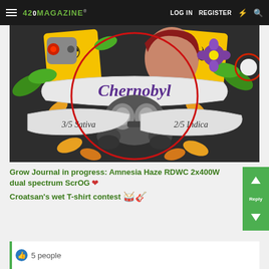420 MAGAZINE | LOG IN | REGISTER
[Figure (illustration): Chernobyl cannabis strain artwork: illustrated scene with gas mask figure, woman with red hair, radioactive warning symbols, purple flower, autumn leaves, and banner scrolls reading 'Chernobyl', '3/5 Sativa', '2/5 Indica']
Grow Journal in progress: Amnesia Haze RDWC 2x400W dual spectrum ScrOG ❤
Croatsan's wet T-shirt contest 🎸